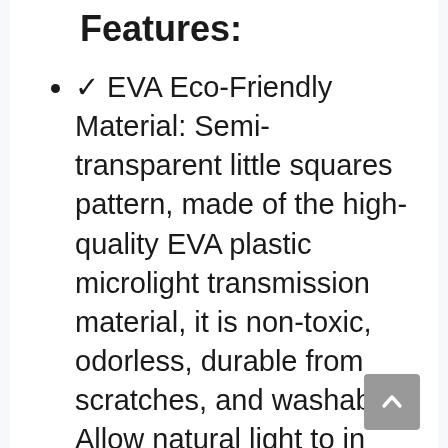Features:
✓ EVA Eco-Friendly Material: Semi-transparent little squares pattern, made of the high-quality EVA plastic microlight transmission material, it is non-toxic, odorless, durable from scratches, and washable. Allow natural light to in and provide privacy.
✓ Magnetic Closure Design: As a “barrier-free” door replacement, 19 pairs powerful magnets offers hands-free open, silently and close